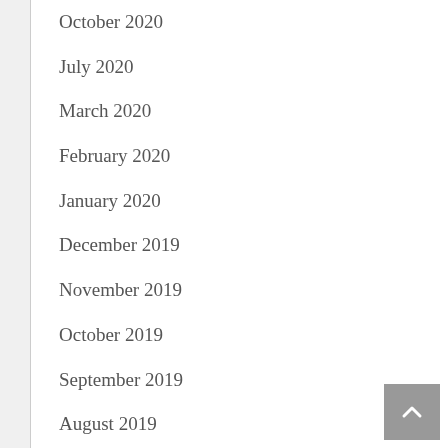October 2020
July 2020
March 2020
February 2020
January 2020
December 2019
November 2019
October 2019
September 2019
August 2019
July 2019
May 2019
April 2019
March 2019